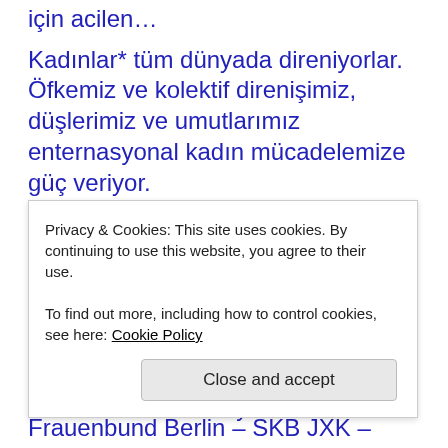için acilen…
Kadınlar* tüm dünyada direniyorlar. Öfkemiz ve kolektif direnişimiz, düşlerimiz ve umutlarımız enternasyonal kadın mücadelemize güç veriyor.
8 Mart'ta sokaklara çıkalım ve Kadınların Uluslararası Mücadele gününde isyanımızı birlikte haykıralım! *** Kadınlar yazdığımızda: LBTI (LezbiyenBiseksüelTransInterseks kadınları da kastediyoruz.
Privacy & Cookies: This site uses cookies. By continuing to use this website, you agree to their use.
To find out more, including how to control cookies, see here: Cookie Policy
Close and accept
Frauenbund Berlin – SKB JXK –